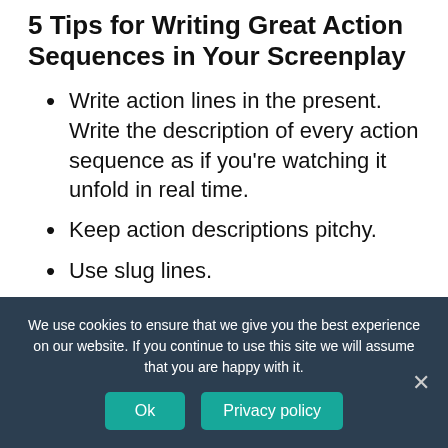5 Tips for Writing Great Action Sequences in Your Screenplay
Write action lines in the present. Write the description of every action sequence as if you’re watching it unfold in real time.
Keep action descriptions pitchy.
Use slug lines.
Don’t get too technical.
Include the pertinent details.
We use cookies to ensure that we give you the best experience on our website. If you continue to use this site we will assume that you are happy with it.